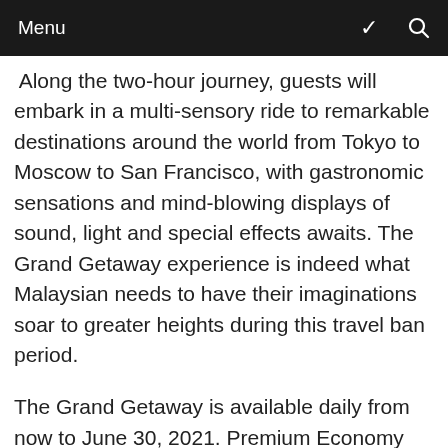Menu
Along the two-hour journey, guests will embark in a multi-sensory ride to remarkable destinations around the world from Tokyo to Moscow to San Francisco, with gastronomic sensations and mind-blowing displays of sound, light and special effects awaits. The Grand Getaway experience is indeed what Malaysian needs to have their imaginations soar to greater heights during this travel ban period.
The Grand Getaway is available daily from now to June 30, 2021. Premium Economy Class is priced at RM 450 nett per person while Business Class is RM 650 nett per person and